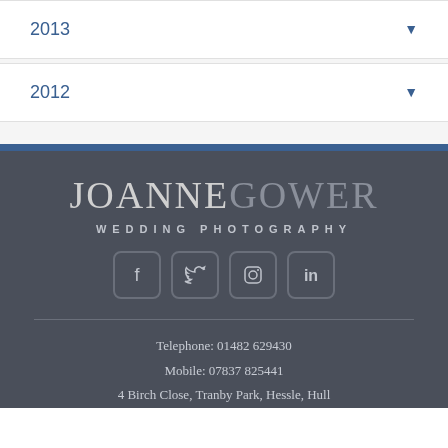2013
2012
JOANNE GOWER
WEDDING PHOTOGRAPHY
[Figure (illustration): Social media icons: Facebook, Twitter, Instagram, LinkedIn in rounded square outlines]
Telephone: 01482 629430
Mobile: 07837 825441
4 Birch Close, Tranby Park, Hessle, Hull